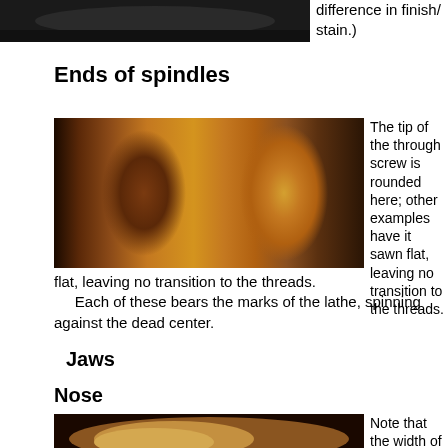[Figure (photo): Top portion of a dark-colored woodworking tool or spindle, close-up photograph]
difference in finish/ stain.)
Ends of spindles
[Figure (photo): Two wooden spindle ends photographed side by side, showing the tip of a through screw; one end is darker reddish-brown and the other is lighter yellow-brown with a visible hole in the center]
The tip of the through screw is rounded here; other examples have it sawn flat, leaving no transition to the threads.
	Each of these bears the marks of the lathe, spinning against the dead center.
Jaws
Nose
[Figure (photo): Close-up photograph of a wooden jaw or nose piece, showing a light tan/yellow-brown wood surface with a chamfer]
Note that the width of the chamfer is